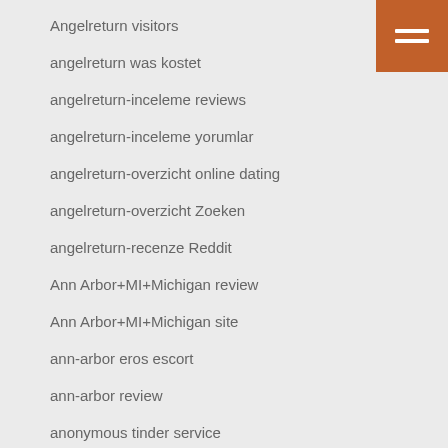Angelreturn visitors
angelreturn was kostet
angelreturn-inceleme reviews
angelreturn-inceleme yorumlar
angelreturn-overzicht online dating
angelreturn-overzicht Zoeken
angelreturn-recenze Reddit
Ann Arbor+MI+Michigan review
Ann Arbor+MI+Michigan site
ann-arbor eros escort
ann-arbor review
anonymous tinder service
anonymous tinder site